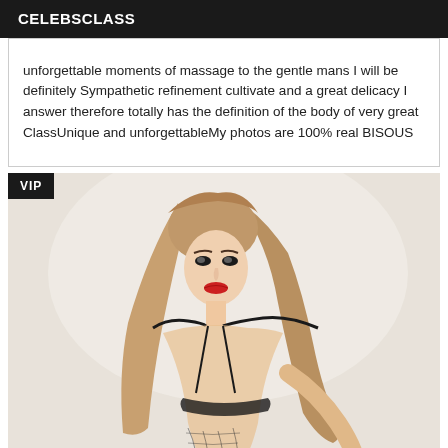CELEBSCLASS
unforgettable moments of massage to the gentle mans I will be definitely Sympathetic refinement cultivate and a great delicacy I answer therefore totally has the definition of the body of very great ClassUnique and unforgettableMy photos are 100% real BISOUS
[Figure (photo): Woman with long blonde hair posing in black lingerie against a light background, with a VIP badge overlay in the top-left corner]